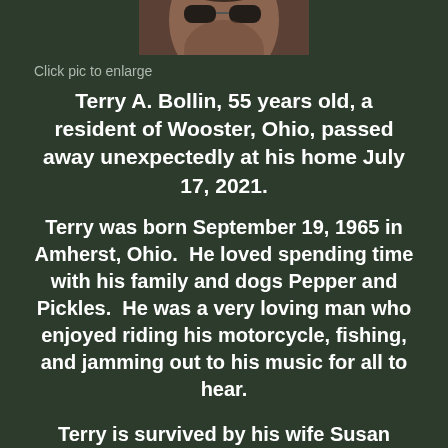[Figure (photo): Portrait photo of Terry A. Bollin, a man wearing sunglasses, shown from shoulders up, slightly blurred.]
Click pic to enlarge
Terry A. Bollin, 55 years old, a resident of Wooster, Ohio, passed away unexpectedly at his home July 17, 2021.
Terry was born September 19, 1965 in Amherst, Ohio.  He loved spending time with his family and dogs Pepper and Pickles.  He was a very loving man who enjoyed riding his motorcycle, fishing, and jamming out to his music for all to hear.
Terry is survived by his wife Susan